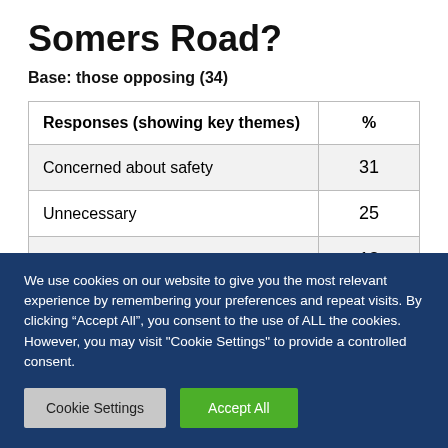Somers Road?
Base: those opposing (34)
| Responses (showing key themes) | % |
| --- | --- |
| Concerned about safety | 31 |
| Unnecessary | 25 |
| Negative impact to traffic | 13 |
We use cookies on our website to give you the most relevant experience by remembering your preferences and repeat visits. By clicking “Accept All”, you consent to the use of ALL the cookies. However, you may visit "Cookie Settings" to provide a controlled consent.